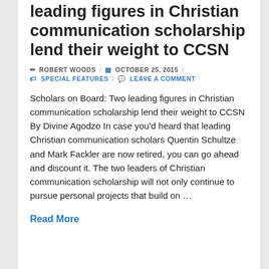leading figures in Christian communication scholarship lend their weight to CCSN
ROBERT WOODS  /  OCTOBER 25, 2015  /
SPECIAL FEATURES  /  LEAVE A COMMENT
Scholars on Board: Two leading figures in Christian communication scholarship lend their weight to CCSN By Divine Agodzo In case you'd heard that leading Christian communication scholars Quentin Schultze and Mark Fackler are now retired, you can go ahead and discount it. The two leaders of Christian communication scholarship will not only continue to pursue personal projects that build on …
Read More